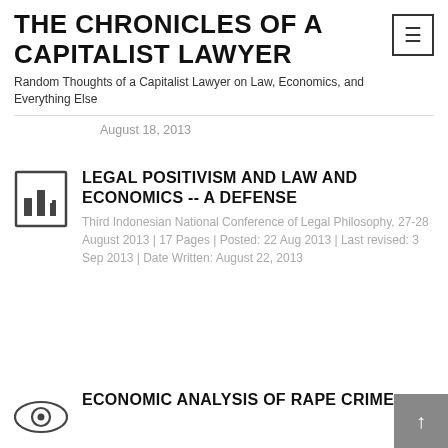THE CHRONICLES OF A CAPITALIST LAWYER
Random Thoughts of a Capitalist Lawyer on Law, Economics, and Everything Else
August 18, 2013
LEGAL POSITIVISM AND LAW AND ECONOMICS -- A DEFENSE
Third Indonesian National Conference of Legal Philosophy, 27-28 August 2013 | 17 Pages | Posted: 22 Aug 2013 | Last revised: 3 Sep 2013 | Date Written: August 22, 2013
ECONOMIC ANALYSIS OF RAPE CRIME: